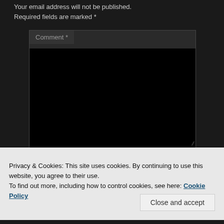Your email address will not be published. Required fields are marked *
[Figure (screenshot): Comment text area input field with label 'Comment *' on dark background]
Privacy & Cookies: This site uses cookies. By continuing to use this website, you agree to their use.
To find out more, including how to control cookies, see here: Cookie Policy
Close and accept
Email